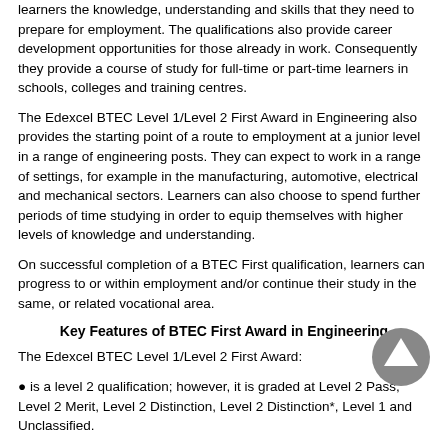learners the knowledge, understanding and skills that they need to prepare for employment. The qualifications also provide career development opportunities for those already in work. Consequently they provide a course of study for full-time or part-time learners in schools, colleges and training centres.
The Edexcel BTEC Level 1/Level 2 First Award in Engineering also provides the starting point of a route to employment at a junior level in a range of engineering posts. They can expect to work in a range of settings, for example in the manufacturing, automotive, electrical and mechanical sectors. Learners can also choose to spend further periods of time studying in order to equip themselves with higher levels of knowledge and understanding.
On successful completion of a BTEC First qualification, learners can progress to or within employment and/or continue their study in the same, or related vocational area.
Key Features of BTEC First Award in Engineering
The Edexcel BTEC Level 1/Level 2 First Award:
• is a level 2 qualification; however, it is graded at Level 2 Pass, Level 2 Merit, Level 2 Distinction, Level 2 Distinction*, Level 1 and Unclassified.